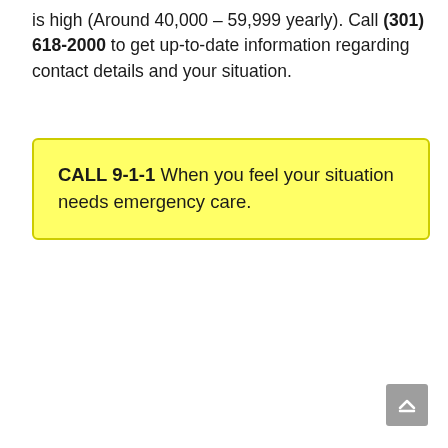is high (Around 40,000 – 59,999 yearly). Call (301) 618-2000 to get up-to-date information regarding contact details and your situation.
CALL 9-1-1 When you feel your situation needs emergency care.